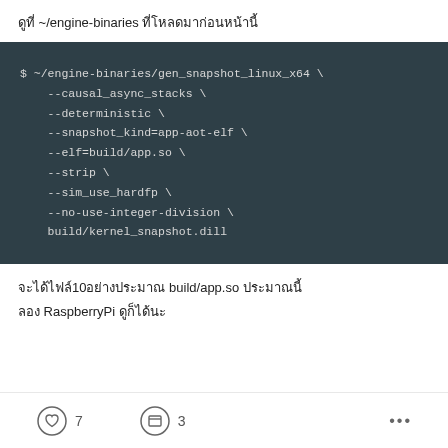ดูที่ ~/engine-binaries ที่โหลดมาก่อนหน้านี้
[Figure (screenshot): Dark terminal/code block showing a shell command: $ ~/engine-binaries/gen_snapshot_linux_x64 \ --causal_async_stacks \ --deterministic \ --snapshot_kind=app-aot-elf \ --elf=build/app.so \ --strip \ --sim_use_hardfp \ --no-use-integer-division \ build/kernel_snapshot.dill]
จะได้ไฟล์10อย่างประมาณ build/app.so ประมาณนี้
ลอง RaspberryPi ดูก็ได้นะ
7   3   ...